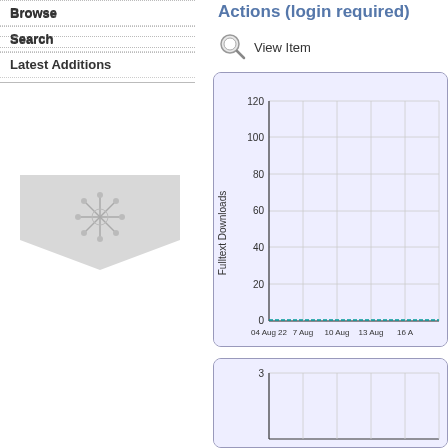Browse
Search
Latest Additions
[Figure (illustration): Navigation badge/shield shape with snowflake-like decoration]
Actions (login required)
View Item
[Figure (line-chart): Line chart showing Fulltext Downloads over time from 04 Aug to 16 Aug, values near 0]
[Figure (line-chart): Partial line chart, y-axis shows value 3, cut off at bottom of page]